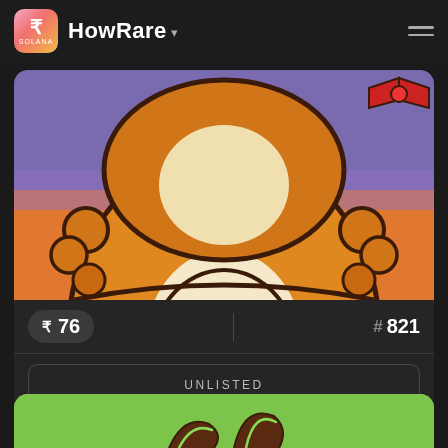HowRare
[Figure (illustration): Cartoon hamster/bear NFT character with orange/golden fur, cream belly, on purple/orange background. Cropped to show body from neck to mid-torso.]
R 76
# 821
UNLISTED
NO SALE HISTORY
[Figure (illustration): Partial view of second NFT card with green background, showing dark curved shapes at bottom of page.]